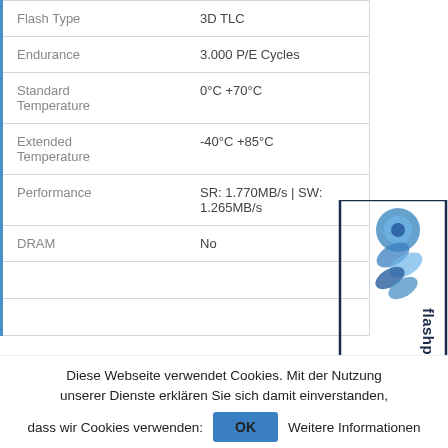| Property | Value |
| --- | --- |
| Flash Type | 3D TLC |
| Endurance | 3.000 P/E Cycles |
| Standard Temperature | 0°C +70°C |
| Extended Temperature | -40°C +85°C |
| Performance | SR: 1.770MB/s | SW: 1.265MB/s |
| DRAM | No |
|  |  |
|  |  |
[Figure (logo): flashprofiler logo — rotated text with stylized blue chain/DNA graphic]
Diese Webseite verwendet Cookies. Mit der Nutzung unserer Dienste erklären Sie sich damit einverstanden, dass wir Cookies verwenden: OK Weitere Informationen